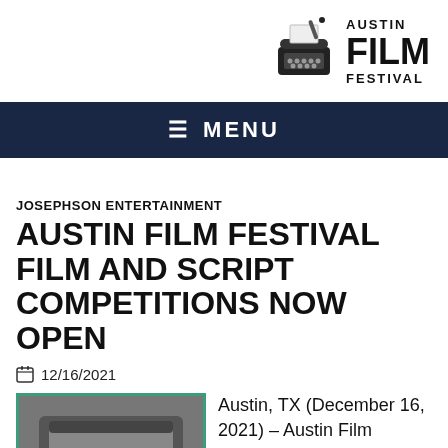[Figure (logo): Austin Film Festival logo with typewriter graphic and bold text reading AUSTIN FILM FESTIVAL]
≡  MENU
JOSEPHSON ENTERTAINMENT
AUSTIN FILM FESTIVAL FILM AND SCRIPT COMPETITIONS NOW OPEN
📅 12/16/2021
[Figure (photo): Close-up photograph of typewriter keys]
Austin, TX (December 16, 2021) – Austin Film Festival & Writers